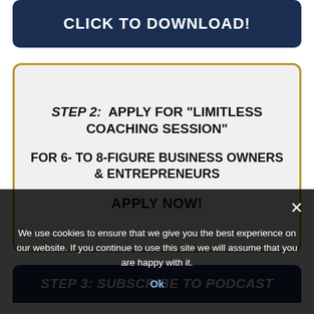CLICK TO DOWNLOAD!
STEP 2:  APPLY FOR "LIMITLESS COACHING SESSION"
FOR 6- to 8-FIGURE BUSINESS OWNERS & ENTREPRENEURS
APPLY NOW!
STEP 3: SUBSCRIBE TO PODCAST
We use cookies to ensure that we give you the best experience on our website. If you continue to use this site we will assume that you are happy with it.
Ok